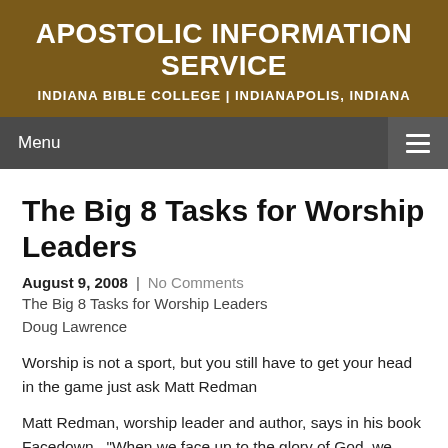APOSTOLIC INFORMATION SERVICE
INDIANA BIBLE COLLEGE | INDIANAPOLIS, INDIANA
Menu
The Big 8 Tasks for Worship Leaders
August 9, 2008  |  No Comments
The Big 8 Tasks for Worship Leaders
Doug Lawrence
Worship is not a sport, but you still have to get your head in the game just ask Matt Redman
Matt Redman, worship leader and author, says in his book Facedown , "When we face up to the glory of God, we soon find ourselves facedown in worship." His point of view (looking at the floor) demonstrates just how reverently absorbed one has to be to...